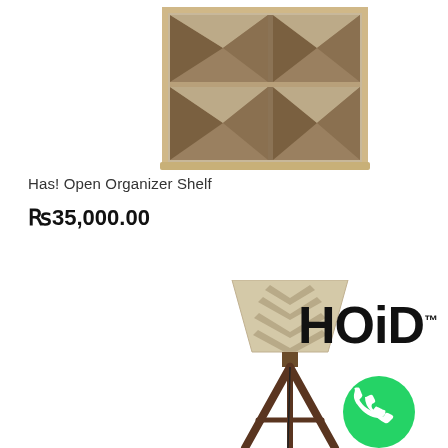[Figure (photo): A wooden open organizer shelf with geometric faceted panel design, light brown/grey wood tones, photographed from front-right angle on white background.]
Has! Open Organizer Shelf
₨35,000.00
[Figure (photo): A floor lamp with a conical cream/beige shade featuring a chevron/herringbone pattern and a dark walnut wood tripod base.]
[Figure (logo): HOiD brand logo in bold black letters with trademark symbol]
[Figure (logo): WhatsApp green circle icon with white phone handset]